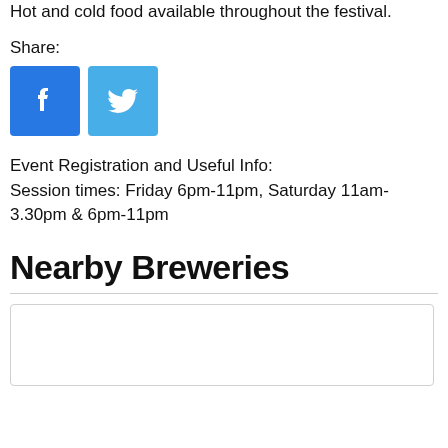Hot and cold food available throughout the festival.
Share:
[Figure (other): Facebook and Twitter share buttons]
Event Registration and Useful Info:
Session times: Friday 6pm-11pm, Saturday 11am-3.30pm & 6pm-11pm
Nearby Breweries
[Figure (other): Brewery card placeholder box]